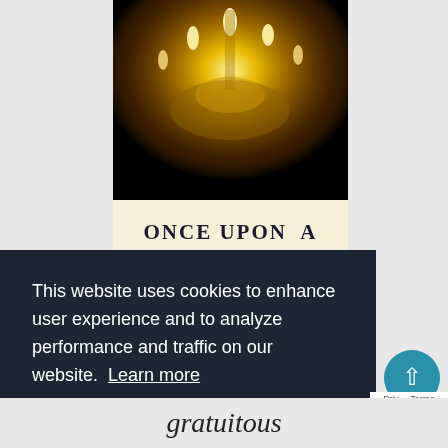[Figure (illustration): Book cover for 'Once Upon a Temptation' showing a glowing golden chandelier with candles against a dark background, and the book title in serif font on a cream-colored band below.]
This website uses cookies to enhance user experience and to analyze performance and traffic on our website. Learn more
Got it!
gratuitous